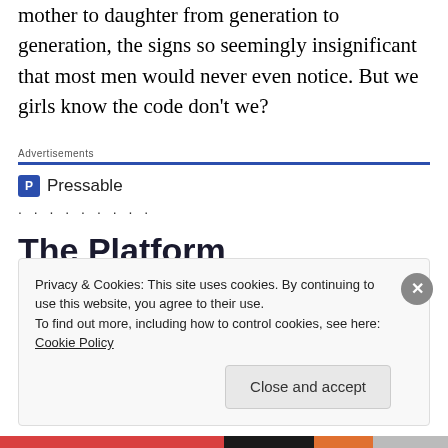mother to daughter from generation to generation, the signs so seemingly insignificant that most men would never even notice. But we girls know the code don't we?
Advertisements
[Figure (other): Pressable advertisement banner with logo, dots, and headline 'The Platform Where WordPress Works Best']
Privacy & Cookies: This site uses cookies. By continuing to use this website, you agree to their use. To find out more, including how to control cookies, see here: Cookie Policy
Close and accept